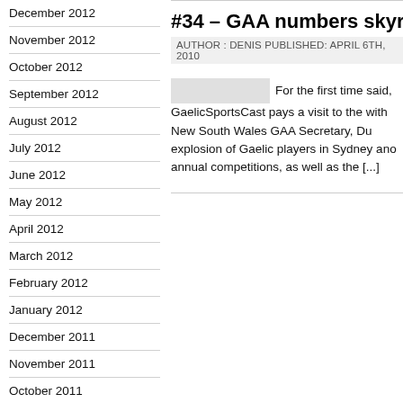December 2012
November 2012
October 2012
September 2012
August 2012
July 2012
June 2012
May 2012
April 2012
March 2012
February 2012
January 2012
December 2011
November 2011
October 2011
September 2011
August 2011
July 2011
#34 – GAA numbers skyrocket
AUTHOR : DENIS PUBLISHED: APRIL 6TH, 2010
For the first time said, GaelicSportsCast pays a visit to the with New South Wales GAA Secretary, Du explosion of Gaelic players in Sydney and annual competitions, as well as the [...]